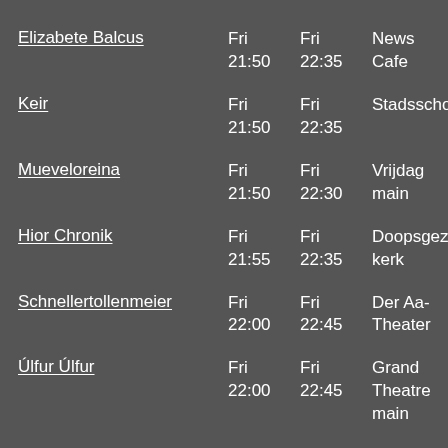Elizabete Balcus | Fri 21:50 | Fri 22:35 | News Cafe
Keir | Fri 21:50 | Fri 22:35 | Stadsschouwbu
Mueveloreina | Fri 21:50 | Fri 22:30 | Vrijdag main
Hior Chronik | Fri 21:55 | Fri 22:35 | Doopsgezinde kerk
Schnellertollenmeier | Fri 22:00 | Fri 22:45 | Der Aa-Theater
Úlfur Úlfur | Fri 22:00 | Fri 22:45 | Grand Theatre main
Will Heard | Fri 22:00 | Fri 22:40 | Groninger Forum
The Zephyr Bones | Fri 22:00 | Fri 22:45 | Huize Maas from